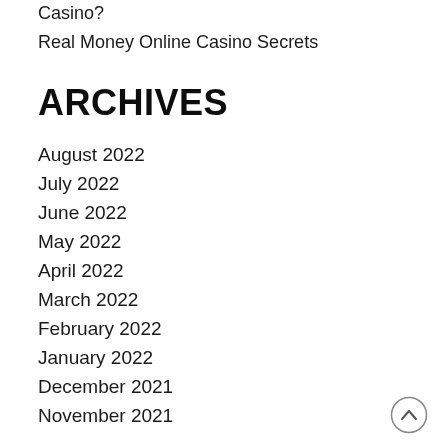Casino?
Real Money Online Casino Secrets
ARCHIVES
August 2022
July 2022
June 2022
May 2022
April 2022
March 2022
February 2022
January 2022
December 2021
November 2021